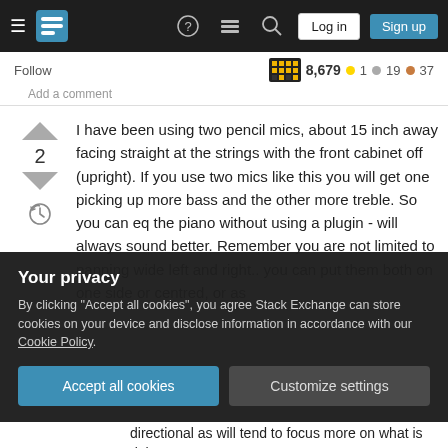Stack Exchange navigation bar with hamburger menu, logo, help, meta, search, Log in, Sign up buttons
Follow   8,679 ● 1 ● 19 ● 37
Add a comment
I have been using two pencil mics, about 15 inch away facing straight at the strings with the front cabinet off (upright). If you use two mics like this you will get one picking up more bass and the other more treble. So you can eq the piano without using a plugin - will always sound better. Remember you are not limited to panning wide left and right.. you can put them both on one side or centred, or as
Your privacy
By clicking "Accept all cookies", you agree Stack Exchange can store cookies on your device and disclose information in accordance with our Cookie Policy.
Accept all cookies
Customize settings
directional as will tend to focus more on what is right